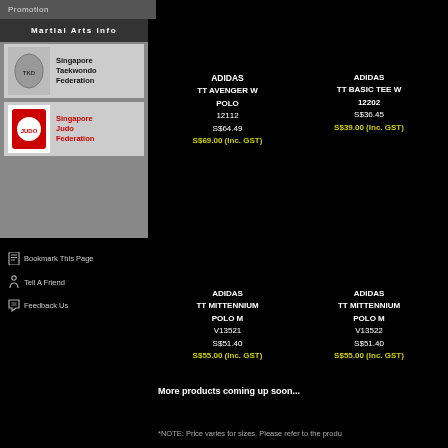Promotion
Martial Arts Info
[Figure (logo): Singapore Taekwondo Federation logo with text]
[Figure (logo): Singapore Judo Federation logo with red emblem]
Bookmark This Page
Tell A Friend
Feedback Us
ADIDAS TT AVENGER W POLO 12112 S$64.49 S$69.00 (Inc. GST)
ADIDAS TT BASIC TEE W 12202 S$36.45 S$39.00 (Inc. GST)
ADIDAS TT MITTENNIUM POLO M V13521 S$51.40 S$55.00 (Inc. GST)
ADIDAS TT MITTENNIUM POLO M V13522 S$51.40 S$55.00 (Inc. GST)
More products coming up soon...
*NOTE: Price varies for sizes. Please refer to the produ